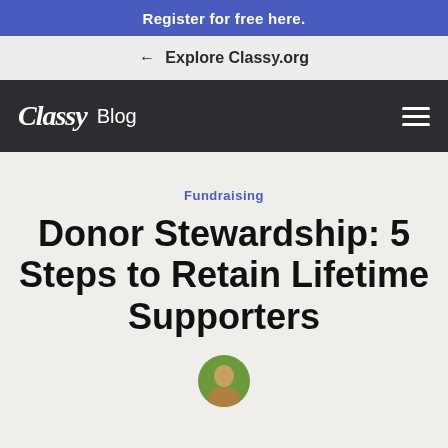Register for free here.
← Explore Classy.org
Classy Blog
Fundraising
Donor Stewardship: 5 Steps to Retain Lifetime Supporters
[Figure (photo): Circular avatar photo of a person partially visible at bottom of page]